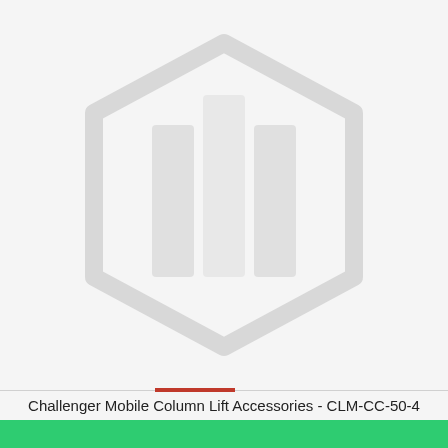[Figure (logo): Faded Magento-style hexagonal logo/placeholder watermark in light gray on a light gray background, indicating a missing product image]
Challenger Mobile Column Lift Accessories - CLM-CC-50-4